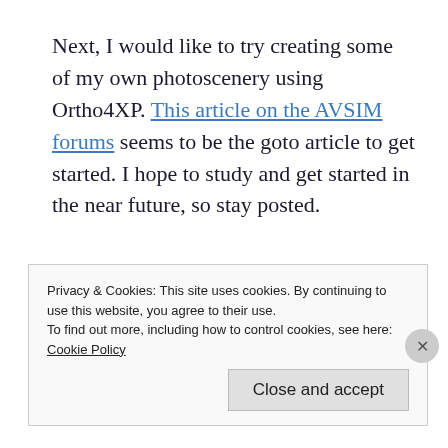Next, I would like to try creating some of my own photoscenery using Ortho4XP. This article on the AVSIM forums seems to be the goto article to get started. I hope to study and get started in the near future, so stay posted.
Privacy & Cookies: This site uses cookies. By continuing to use this website, you agree to their use.
To find out more, including how to control cookies, see here: Cookie Policy
[Close and accept]